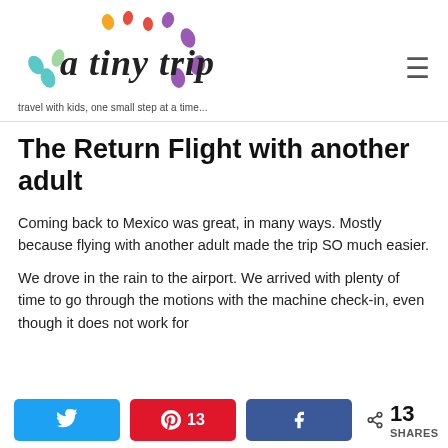a tiny trip — travel with kids, one small step at a time...
The Return Flight with another adult
Coming back to Mexico was great, in many ways. Mostly because flying with another adult made the trip SO much easier.
We drove in the rain to the airport. We arrived with plenty of time to go through the motions with the machine check-in, even though it does not work for
13 SHARES